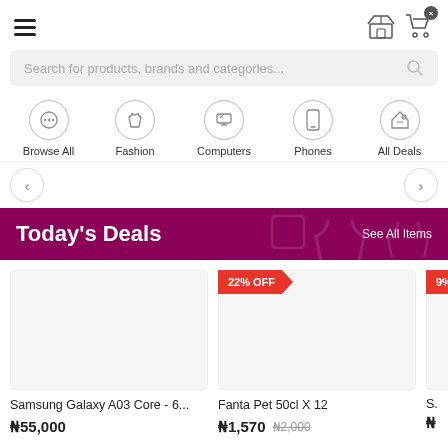[Figure (screenshot): E-commerce app screenshot showing navigation bar with hamburger menu, store icon, and cart icon]
Search for products, brands and categories...
Browse All
Fashion
Computers
Phones
All Deals
Today's Deals
See All Items
22% OFF
9%
Samsung Galaxy A03 Core - 6...
₦55,000
Fanta Pet 50cl X 12
₦1,570 ₦2,000
S.
₦